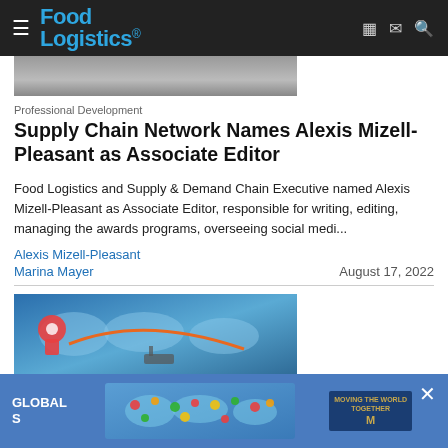Food Logistics
[Figure (photo): Partial photo of a person, cropped at top of page]
Professional Development
Supply Chain Network Names Alexis Mizell-Pleasant as Associate Editor
Food Logistics and Supply & Demand Chain Executive named Alexis Mizell-Pleasant as Associate Editor, responsible for writing, editing, managing the awards programs, overseeing social medi...
Alexis Mizell-Pleasant
Marina Mayer
August 17, 2022
[Figure (illustration): Supply chain / global logistics illustration with world map, location pin icons, and shipping imagery]
[Figure (infographic): Advertisement banner: Global logistics ad with world map made of colorful food icons, text reading GLOBAL S, and a company logo with MOVING THE WORLD TOGETHER]